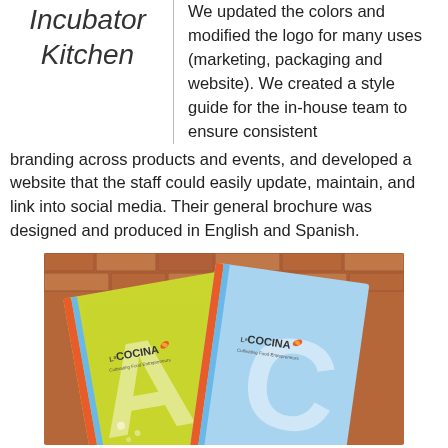Incubator Kitchen
We updated the colors and modified the logo for many uses (marketing, packaging and website). We created a style guide for the in-house team to ensure consistent branding across products and events, and developed a website that the staff could easily update, maintain, and link into social media. Their general brochure was designed and produced in English and Spanish.
[Figure (photo): Two La Cocina brochures laid on a brick surface — one yellow-green and one light blue, both showing the La Cocina logo and the word 'COCINA' in large letters.]